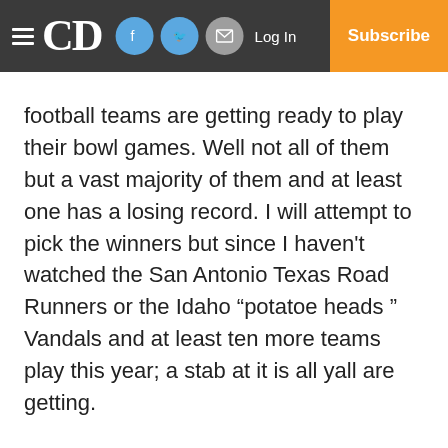CD | Log In | Subscribe
football teams are getting ready to play their bowl games. Well not all of them but a vast majority of them and at least one has a losing record. I will attempt to pick the winners but since I haven't watched the San Antonio Texas Road Runners or the Idaho “potatoe heads ” Vandals and at least ten more teams play this year; a stab at it is all yall are getting.